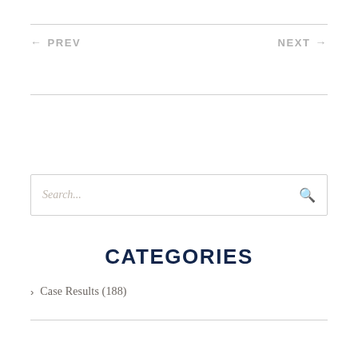← PREV    NEXT →
Search...
CATEGORIES
Case Results (188)